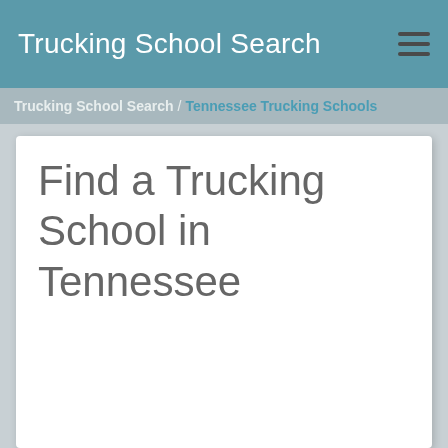Trucking School Search
Trucking School Search / Tennessee Trucking Schools
Find a Trucking School in Tennessee